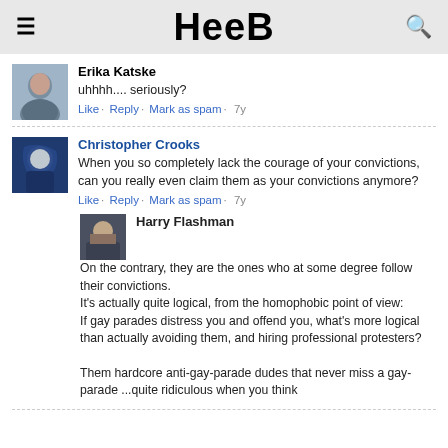Heeb
Erika Katske
uhhhh.... seriously?
Like · Reply · Mark as spam · 7y
Christopher Crooks
When you so completely lack the courage of your convictions, can you really even claim them as your convictions anymore?
Like · Reply · Mark as spam · 7y
Harry Flashman
On the contrary, they are the ones who at some degree follow their convictions.
It's actually quite logical, from the homophobic point of view:
If gay parades distress you and offend you, what's more logical than actually avoiding them, and hiring professional protesters?

Them hardcore anti-gay-parade dudes that never miss a gay-parade ...quite ridiculous when you think